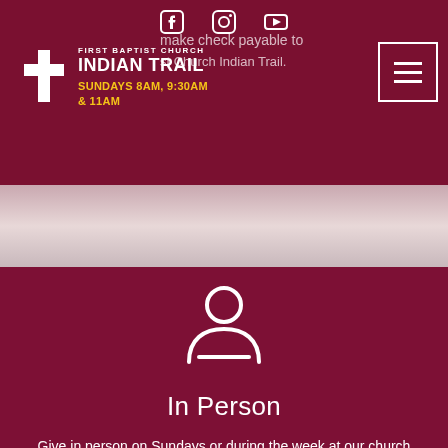First Baptist Church Indian Trail — SUNDAYS 8AM, 9:30AM & 11AM
make check payable to First Church Indian Trail.
[Figure (illustration): Person silhouette icon (outline of head and shoulders) in white on dark maroon background]
In Person
Give in person on Sundays or during the week at our church office located at